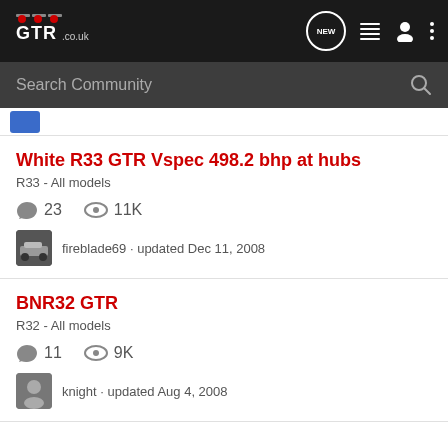GTR.CO.UK – navigation header with logo, NEW, list, user, and more icons
Search Community
White R33 GTR Vspec 498.2 bhp at hubs
R33 - All models
23 comments · 11K views
fireblade69 · updated Dec 11, 2008
BNR32 GTR
R32 - All models
11 comments · 9K views
knight · updated Aug 4, 2008